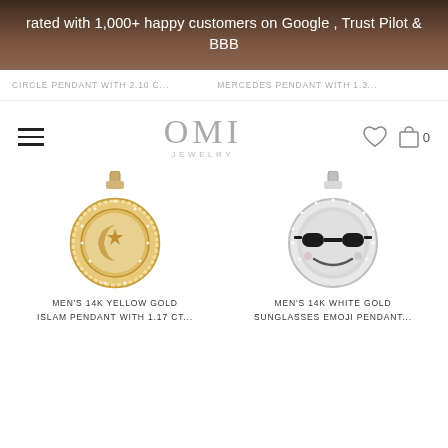rated with 1,000+ happy customers on Google , Trust Pilot & BBB
CIRCLE PENDANT WITH 2.10 C...    MERCEDES PENDANT WITH 1.3...
[Figure (logo): OMI JEWELRY logo with hamburger menu, heart icon, and shopping bag icon with 0]
[Figure (photo): Men's 14K yellow gold Islam pendant with diamonds - circular gold pendant with crescent and star symbol]
MEN'S 14K YELLOW GOLD ISLAM PENDANT WITH 1.17 CT...
[Figure (photo): Men's 14K white gold sunglasses emoji pendant - circular diamond pendant with black sunglasses emoji face]
MEN'S 14K WHITE GOLD SUNGLASSES EMOJI PENDANT...